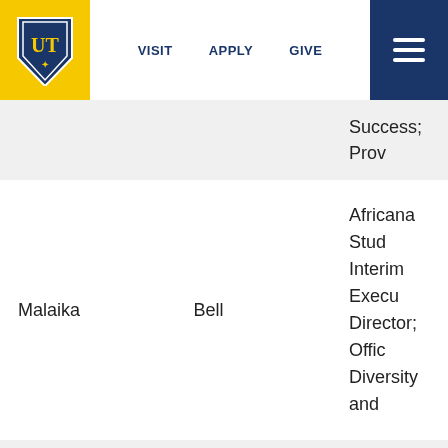[Figure (logo): University of Tampa UT shield logo on yellow background]
VISIT   APPLY   GIVE   [menu]
| First Name | Last Name | Title/Role |
| --- | --- | --- |
|  |  | Success; Prov |
| Malaika | Bell | Africana Stud Interim Execu Director; Offic Diversity and |
| Carmen | Cioc | Associate Pro College of En |
| Kari | Dilworth | Success Coac Program Man Center for Su Coaching; De |